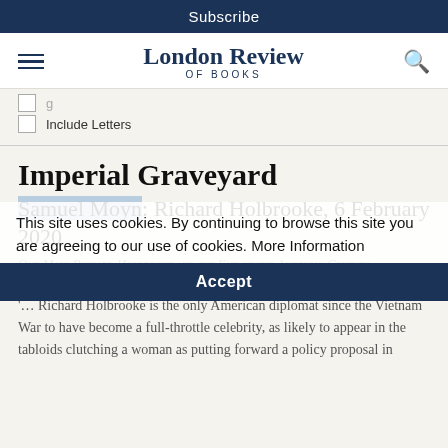Subscribe
London Review OF BOOKS
Include Letters
Imperial Graveyard
Samuel Moyn: Richard Holbrooke, 6 February 2020
Our Man: Richard Holbrooke and the End of the American Century
by G[eorge Packer]
This site uses cookies. By continuing to browse this site you are agreeing to our use of cookies. More Information
'… Richard Holbrooke is the only American diplomat since the Vietnam War to have become a full-throttle celebrity, as likely to appear in the tabloids clutching a woman as putting forward a policy proposal in
Accept